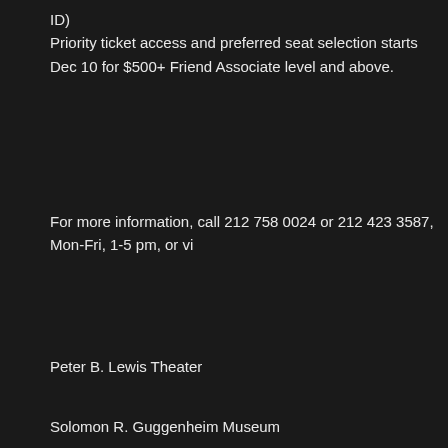ID)
Priority ticket access and preferred seat selection starts Dec 10 for $500+ Friend Associate level and above.
For more information, call 212 758 0024 or 212 423 3587, Mon-Fri, 1-5 pm, or vi
Peter B. Lewis Theater
Solomon R. Guggenheim Museum
1071 Fifth Avenue at 89th Street
Subway: 4, 5, 6, or Q train to 86th Street
Bus: M1, M2, M3, or M4 bus on Madison or Fifth Avenue
Lead funding for Works & Process is provided by the Ford Foundation,Florence G Gilmore Foundation, Stavros Niarchos Foundation, Rockefeller Brothers Fund, a York City Department of Cultural Affairs in partnership with the City Council and t
Regarded as one of the finest dancers of his generation, Angel Corella was app 2014-2015 Season. Corella's talent, technique, and passion have brought him wi